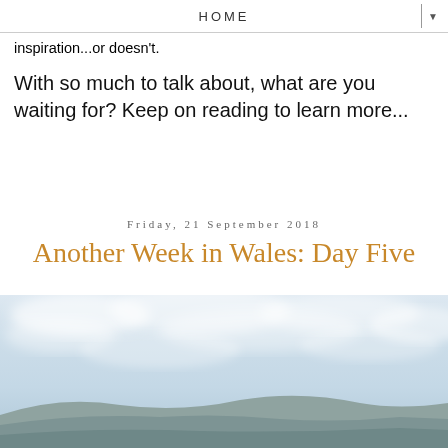HOME
inspiration...or doesn't.
With so much to talk about, what are you waiting for? Keep on reading to learn more...
Friday, 21 September 2018
Another Week in Wales: Day Five
[Figure (photo): Landscape photo of misty hills and cloudy sky in Wales]